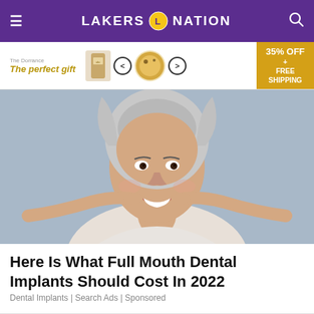LAKERS NATION
[Figure (screenshot): Advertisement banner: 'The perfect gift' with food product images and '35% OFF + FREE SHIPPING' offer]
[Figure (photo): Older woman with gray hair smiling and pointing at her teeth with both index fingers, against a gray background]
Here Is What Full Mouth Dental Implants Should Cost In 2022
Dental Implants | Search Ads | Sponsored